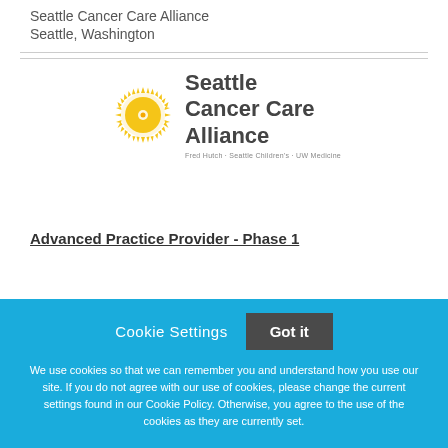Seattle Cancer Care Alliance
Seattle, Washington
[Figure (logo): Seattle Cancer Care Alliance logo with yellow sunburst graphic and text 'Seattle Cancer Care Alliance' with subtitle 'Fred Hutch · Seattle Children's · UW Medicine']
Advanced Practice Provider - Phase 1
Cookie Settings   Got it

We use cookies so that we can remember you and understand how you use our site. If you do not agree with our use of cookies, please change the current settings found in our Cookie Policy. Otherwise, you agree to the use of the cookies as they are currently set.